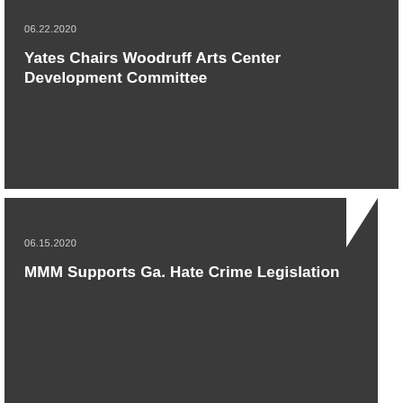06.22.2020
Yates Chairs Woodruff Arts Center Development Committee
06.15.2020
MMM Supports Ga. Hate Crime Legislation